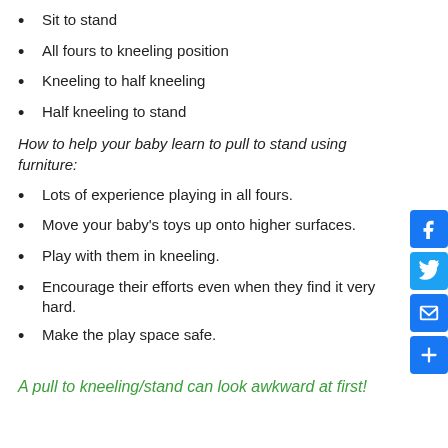Sit to stand
All fours to kneeling position
Kneeling to half kneeling
Half kneeling to stand
How to help your baby learn to pull to stand using furniture:
Lots of experience playing in all fours.
Move your baby’s toys up onto higher surfaces.
Play with them in kneeling.
Encourage their efforts even when they find it very hard.
Make the play space safe.
A pull to kneeling/stand can look awkward at first!